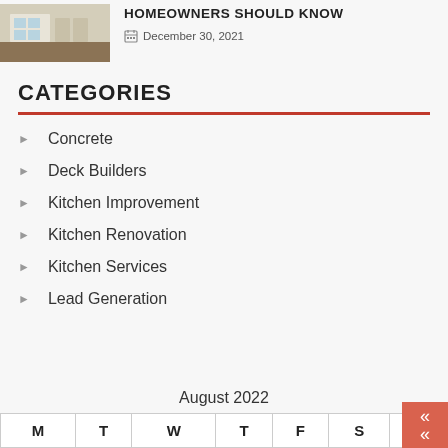[Figure (photo): Thumbnail photo of a kitchen interior with wood flooring]
HOMEOWNERS SHOULD KNOW
December 30, 2021
CATEGORIES
Concrete
Deck Builders
Kitchen Improvement
Kitchen Renovation
Kitchen Services
Lead Generation
August 2022
| M | T | W | T | F | S | S |
| --- | --- | --- | --- | --- | --- | --- |